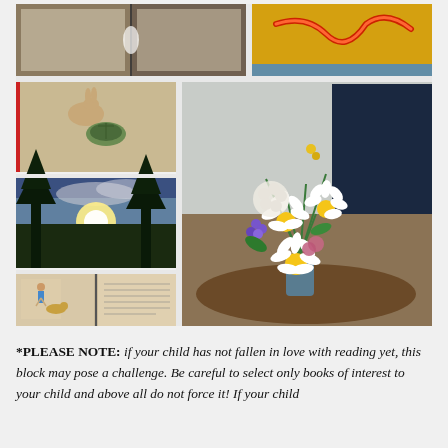[Figure (photo): Collage of 6 photos: open book from above, colorful snake book, book with hare and tortoise illustration, sunset with trees, open illustrated book with figures, large bouquet of wildflowers including daisies on a wooden table]
*PLEASE NOTE: if your child has not fallen in love with reading yet, this block may pose a challenge. Be careful to select only books of interest to your child and above all do not force it! If your child